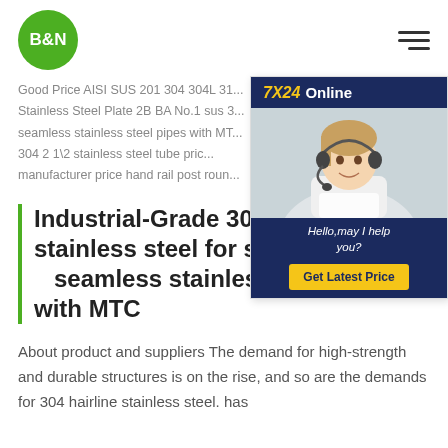B&N logo and navigation
Good Price AISI SUS 201 304 304L 31... Stainless Steel Plate 2B BA No.1 sus 3... seamless stainless steel pipes with MT... 304 2 1\2 stainless steel tube pric... manufacturer price hand rail post roun...
[Figure (photo): 7X24 Online chat widget with a female customer service agent wearing a headset, with Hello, may I help you? text and Get Latest Price button]
Industrial-Grade 304 hairline stainless steel for sus 304 seamless stainless steel pipes with MTC
About product and suppliers The demand for high-strength and durable structures is on the rise, and so are the demands for 304 hairline stainless steel. has